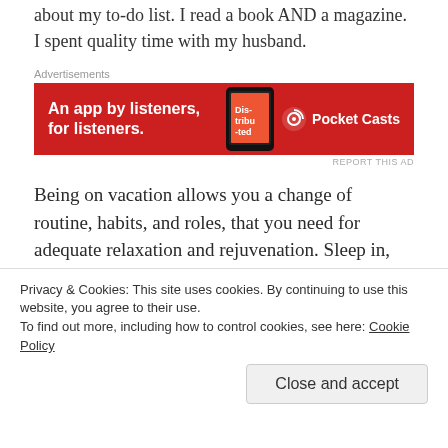about my to-do list. I read a book AND a magazine. I spent quality time with my husband.
[Figure (other): Pocket Casts advertisement banner: red background with phone image, text 'An app by listeners, for listeners.' and Pocket Casts logo on the right.]
Being on vacation allows you a change of routine, habits, and roles, that you need for adequate relaxation and rejuvenation. Sleep in, don't cook, and sit down and read something other than the monthly bills...
Try Something New
Privacy & Cookies: This site uses cookies. By continuing to use this website, you agree to their use.
To find out more, including how to control cookies, see here: Cookie Policy
Close and accept